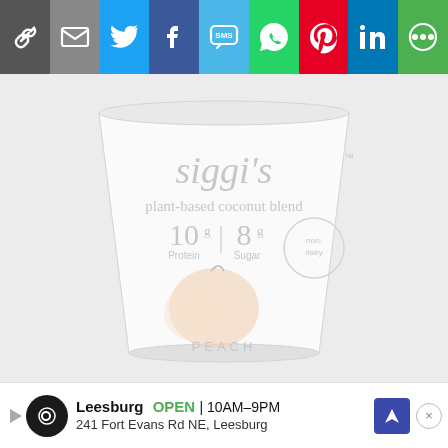[Figure (screenshot): Social media share toolbar with icons: link/copy, email, Twitter, Facebook, SMS, WhatsApp, Pinterest, LinkedIn, More]
[Figure (photo): Siggi's plant-based coconut blend yogurt cup, Peach flavor. Label shows 10g Protein, 8g Sugar. Light/washed-out product photo on light gray background.]
Leesburg  OPEN  10AM–9PM  241 Fort Evans Rd NE, Leesburg